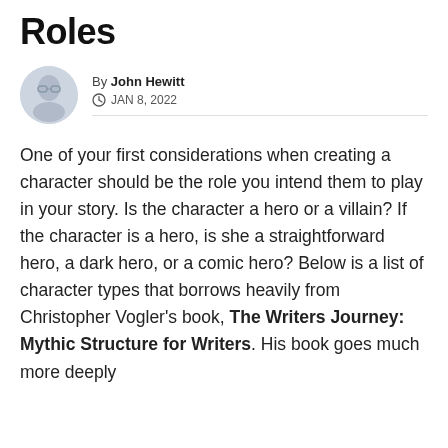Roles
By John Hewitt
JAN 8, 2022
One of your first considerations when creating a character should be the role you intend them to play in your story. Is the character a hero or a villain? If the character is a hero, is she a straightforward hero, a dark hero, or a comic hero? Below is a list of character types that borrows heavily from Christopher Vogler's book, The Writers Journey: Mythic Structure for Writers. His book goes much more deeply